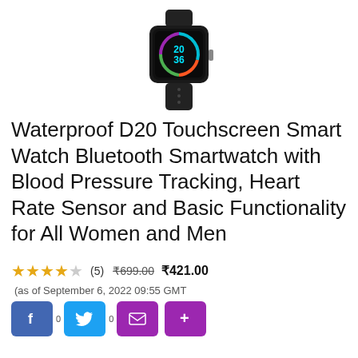[Figure (photo): Product photo of Waterproof D20 smartwatch with black band and colorful circular display showing 20:36]
Waterproof D20 Touchscreen Smart Watch Bluetooth Smartwatch with Blood Pressure Tracking, Heart Rate Sensor and Basic Functionality for All Women and Men
★★★★☆ (5) ₹699.00 ₹421.00 (as of September 6, 2022 09:55 GMT